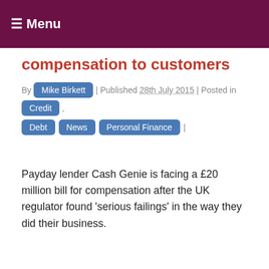☰ Menu
compensation to customers
By Mike Birkett | Published 28th July 2015 | Posted in Credit, Debt, News, Personal Finance |
Payday lender Cash Genie is facing a £20 million bill for compensation after the UK regulator found 'serious failings' in the way they did their business.